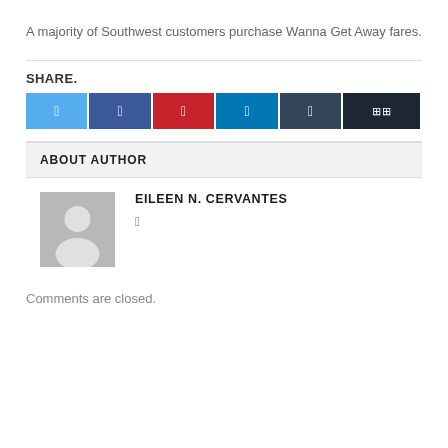A majority of Southwest customers purchase Wanna Get Away fares.
SHARE.
[Figure (other): Six social share buttons: Twitter (light blue), Facebook (dark blue), Pinterest (red), LinkedIn (blue), Tumblr (dark blue-grey), and a more/share button (very dark navy)]
ABOUT AUTHOR
[Figure (photo): Generic grey user avatar placeholder image with silhouette of a person]
EILEEN N. CERVANTES
Comments are closed.